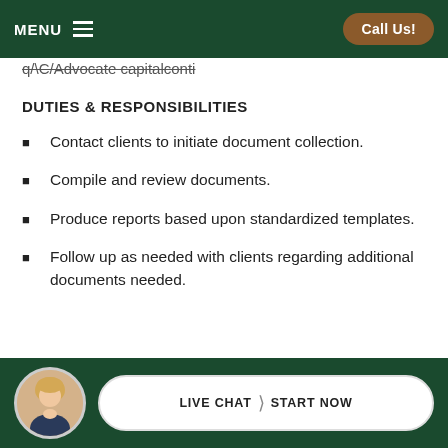MENU   Call Us!
q/\C/Advocate capitalconti
DUTIES & RESPONSIBILITIES
Contact clients to initiate document collection.
Compile and review documents.
Produce reports based upon standardized templates.
Follow up as needed with clients regarding additional documents needed.
LIVE CHAT  START NOW